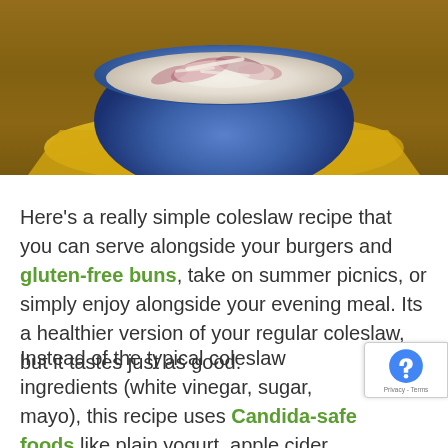[Figure (photo): A bowl of coleslaw with purple and white cabbage in a blue ceramic bowl, placed on a yellow cloth napkin on a wooden surface]
Here's a really simple coleslaw recipe that you can serve alongside your burgers and gluten-free buns, take on summer picnics, or simply enjoy alongside your evening meal. Its a healthier version of your regular coleslaw, but it tastes just as good.
Instead of the typical coleslaw ingredients (white vinegar, sugar, mayo), this recipe uses Candida-safe foods like plain yogurt, apple cider vinegar, lemon juice, and a little stevi